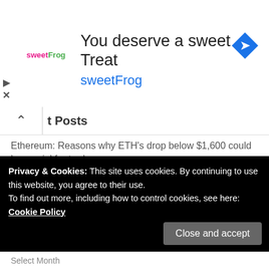[Figure (screenshot): Advertisement banner for sweetFrog frozen yogurt. Shows sweetFrog logo on left, headline 'You deserve a sweet Treat', subtitle 'sweetFrog' in blue, and a blue navigation arrow icon on far right.]
t Posts
Ethereum: Reasons why ETH's drop below $1,600 could be crucial for traders
Leading Japanese Online Broker SBI to Pull Out of Russia's Crypto Mining Sector
'Black Myth: Wukong' gets two new trailers but not a release date
The following await MATIC after this latest breakout
Privacy & Cookies: This site uses cookies. By continuing to use this website, you agree to their use.
To find out more, including how to control cookies, see here: Cookie Policy
Select Month